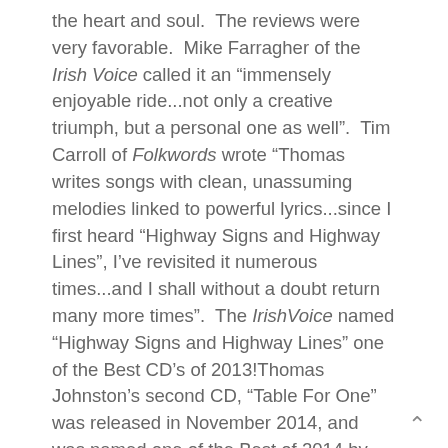the heart and soul.  The reviews were very favorable.  Mike Farragher of the Irish Voice called it an "immensely enjoyable ride...not only a creative triumph, but a personal one as well".  Tim Carroll of Folkwords wrote "Thomas writes songs with clean, unassuming melodies linked to powerful lyrics...since I first heard "Highway Signs and Highway Lines", I've revisited it numerous times...and I shall without a doubt return many more times".  The IrishVoice named "Highway Signs and Highway Lines" one of the Best CD's of 2013!Thomas Johnston's second CD, "Table For One" was released in November 2014, and was named one of the Best of 2014 by the Irish Voice! This comes after a very active year of playing shows; thirty-five that summer alone.In 2015, he capped off a successful year playing 96 shows at various venues in New Jersey and